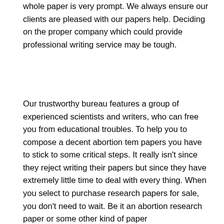whole paper is very prompt. We always ensure our clients are pleased with our papers help. Deciding on the proper company which could provide professional writing service may be tough.
Our trustworthy bureau features a group of experienced scientists and writers, who can free you from educational troubles. To help you to compose a decent abortion tem papers you have to stick to some critical steps. It really isn't since they reject writing their papers but since they have extremely little time to deal with every thing. When you select to purchase research papers for sale, you don't need to wait. Be it an abortion research paper or some other kind of paper ProfEssays.com problems that it's going to furnish the best paper on the market. In addition you have to change and edit your essay to eliminate any imperfections. If you determined to compose an essay about abortion, select a method with a sizeable body of re